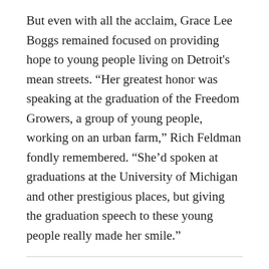But even with all the acclaim, Grace Lee Boggs remained focused on providing hope to young people living on Detroit's mean streets. “Her greatest honor was speaking at the graduation of the Freedom Growers, a group of young people, working on an urban farm,” Rich Feldman fondly remembered. “She’d spoken at graduations at the University of Michigan and other prestigious places, but giving the graduation speech to these young people really made her smile.”
Tags
CULTURE
ACTIVISM
YOUTH
CITIES
DISPATCHES